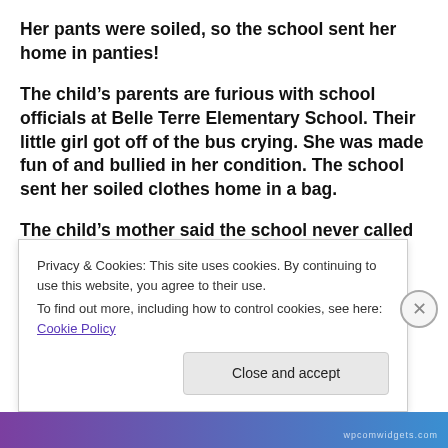Her pants were soiled, so the school sent her home in panties!
The child’s parents are furious with school officials at Belle Terre Elementary School. Their little girl got off of the bus crying. She was made fun of and bullied in her condition. The school sent her soiled clothes home in a bag.
The child’s mother said the school never called her to
Privacy & Cookies: This site uses cookies. By continuing to use this website, you agree to their use.
To find out more, including how to control cookies, see here: Cookie Policy